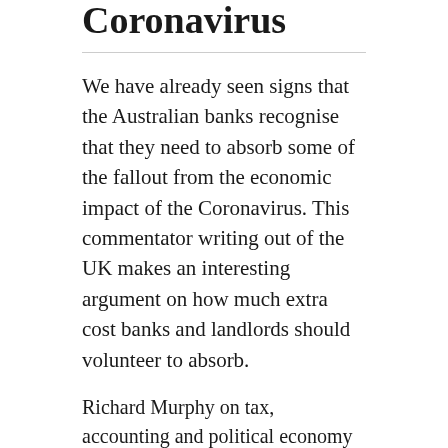Coronavirus
We have already seen signs that the Australian banks recognise that they need to absorb some of the fallout from the economic impact of the Coronavirus. This commentator writing out of the UK makes an interesting argument on how much extra cost banks and landlords should volunteer to absorb.
Richard Murphy on tax, accounting and political economy
— Read on
www.taxresearch.org.uk/Blog/2020/03/04/banks-and-landlords-have-to-pick-up-the-costs-of-the-epidemic-to-come-if-the-the-economy-is-to-have-a-chance-of-surviving/